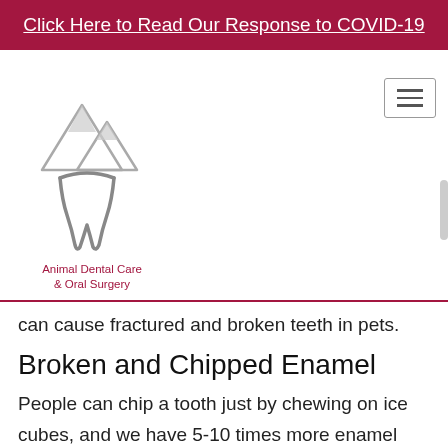Click Here to Read Our Response to COVID-19
[Figure (logo): Animal Dental Care & Oral Surgery logo with mountain and tooth illustration]
can cause fractured and broken teeth in pets.
Broken and Chipped Enamel
People can chip a tooth just by chewing on ice cubes, and we have 5-10 times more enamel than dogs and cats! So it's surprising that dogs don't have more fractured teeth after one simply peruses through marketed chew toys and treats at a local pet store! Objects and products that are commonly responsible for breaking pet teeth include